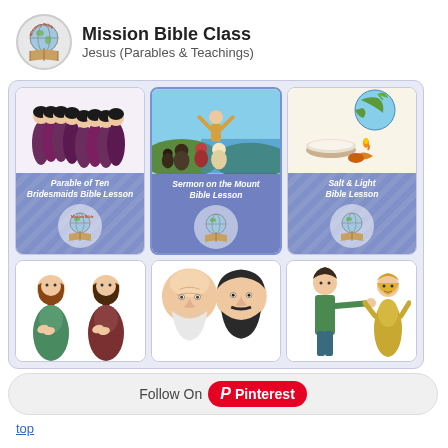Mission Bible Class
Jesus (Parables & Teachings)
[Figure (illustration): Card: Parable of Ten Bridesmaids Bible Lesson — illustration of ten women in robes]
Parable of Ten Bridesmaids Bible Lesson
[Figure (illustration): Card: Sermon on the Mount Bible Lesson — illustration of Jesus preaching to crowd on hillside]
Sermon on the Mount Bible Lesson
[Figure (illustration): Card: Salt & Light Bible Lesson — illustration of globe, bowl of salt, oil lamp]
Salt & Light Bible Lesson
[Figure (illustration): Bottom row card 1: Two praying men with beards in robes]
[Figure (illustration): Bottom row card 2: Two men faces — older bald man and bearded man]
[Figure (illustration): Bottom row card 3: Two figures — one pointing at another]
Follow On Pinterest
top